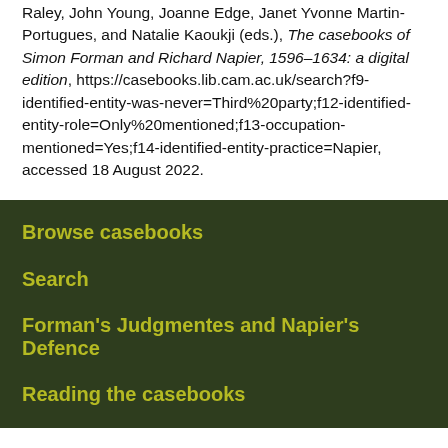Raley, John Young, Joanne Edge, Janet Yvonne Martin-Portugues, and Natalie Kaoukji (eds.), The casebooks of Simon Forman and Richard Napier, 1596–1634: a digital edition, https://casebooks.lib.cam.ac.uk/search?f9-identified-entity-was-never=Third%20party;f12-identified-entity-role=Only%20mentioned;f13-occupation-mentioned=Yes;f14-identified-entity-practice=Napier, accessed 18 August 2022.
Browse casebooks
Search
Forman's Judgmentes and Napier's Defence
Reading the casebooks